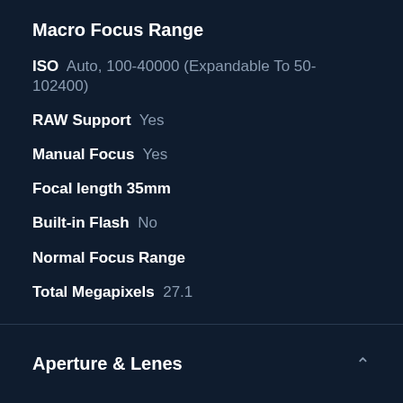Macro Focus Range
ISO  Auto, 100-40000 (Expandable To 50-102400)
RAW Support  Yes
Manual Focus  Yes
Focal length 35mm
Built-in Flash  No
Normal Focus Range
Total Megapixels  27.1
Aperture & Lenes